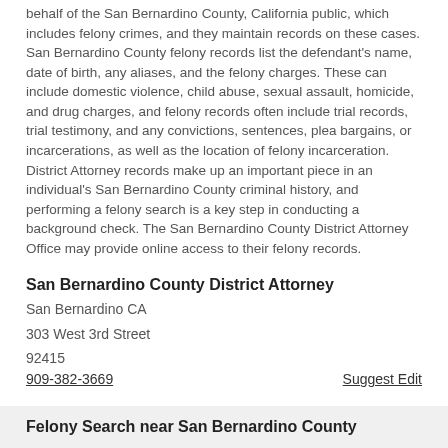behalf of the San Bernardino County, California public, which includes felony crimes, and they maintain records on these cases. San Bernardino County felony records list the defendant's name, date of birth, any aliases, and the felony charges. These can include domestic violence, child abuse, sexual assault, homicide, and drug charges, and felony records often include trial records, trial testimony, and any convictions, sentences, plea bargains, or incarcerations, as well as the location of felony incarceration. District Attorney records make up an important piece in an individual's San Bernardino County criminal history, and performing a felony search is a key step in conducting a background check. The San Bernardino County District Attorney Office may provide online access to their felony records.
San Bernardino County District Attorney
San Bernardino CA
303 West 3rd Street
92415
909-382-3669
Suggest Edit
Felony Search near San Bernardino County